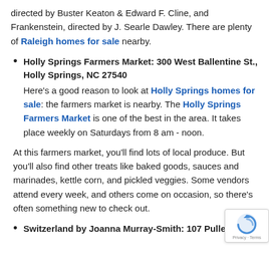directed by Buster Keaton & Edward F. Cline, and Frankenstein, directed by J. Searle Dawley. There are plenty of Raleigh homes for sale nearby.
Holly Springs Farmers Market: 300 West Ballentine St., Holly Springs, NC 27540
Here's a good reason to look at Holly Springs homes for sale: the farmers market is nearby. The Holly Springs Farmers Market is one of the best in the area. It takes place weekly on Saturdays from 8 am - noon.
At this farmers market, you'll find lots of local produce. But you'll also find other treats like baked goods, sauces and marinades, kettle corn, and pickled veggies. Some vendors attend every week, and others come on occasion, so there's often something new to check out.
Switzerland by Joanna Murray-Smith: 107 Pullen Rd